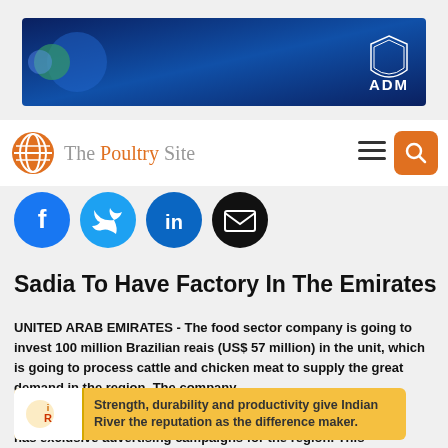[Figure (photo): ADM company banner advertisement with blue hexagonal background and ADM logo on the right]
[Figure (logo): The Poultry Site website logo with orange circle globe icon and site name, plus hamburger menu and orange search button]
[Figure (infographic): Social media share buttons: Facebook (blue), Twitter (light blue), LinkedIn (dark blue), Email (black)]
Sadia To Have Factory In The Emirates
UNITED ARAB EMIRATES - The food sector company is going to invest 100 million Brazilian reais (US$ 57 million) in the unit, which is going to process cattle and chicken meat to supply the great demand in the region. The company e... A... has exclusive advertising campaigns for the region. This
[Figure (infographic): Indian River advertisement: Strength, durability and productivity give Indian River the reputation as the difference maker.]